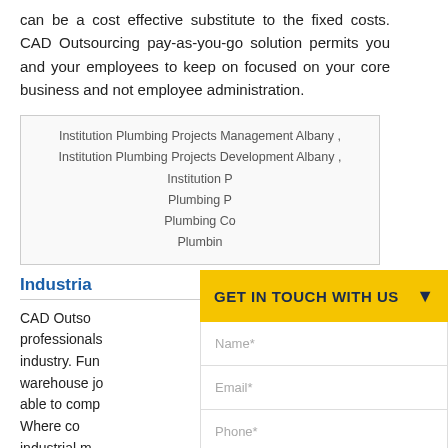can be a cost effective substitute to the fixed costs. CAD Outsourcing pay-as-you-go solution permits you and your employees to keep on focused on your core business and not employee administration.
Institution Plumbing Projects Management Albany,
Institution Plumbing Projects Development Albany,
Institution P...
Plumbing P...
Plumbing Co...
Plumbin...
Industria...
CAD Outso... professionals... industry. Fun... warehouse jo... able to comp... Where co... industrial m...
[Figure (screenshot): GET IN TOUCH WITH US contact form overlay with fields: Name*, Email*, Phone*, Select Country, Details]